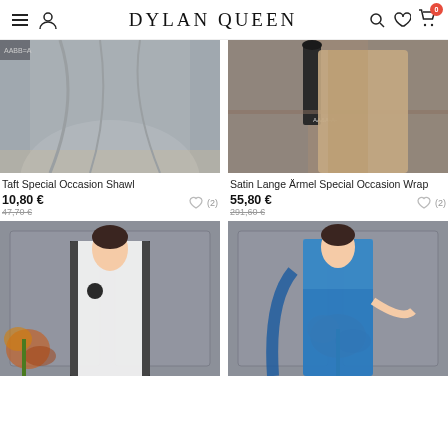Dylan Queen
[Figure (photo): Gray satin gown floor-length product photo]
Taft Special Occasion Shawl
10,80 € (was 47,70 €) — wishlist (2)
[Figure (photo): Taupe/beige wrap jacket special occasion product photo]
Satin Lange Ärmel Special Occasion Wrap
55,80 € (was 291,60 €) — wishlist (2)
[Figure (photo): White and black jacket formal wear product photo]
[Figure (photo): Blue beaded gown with shawl product photo]